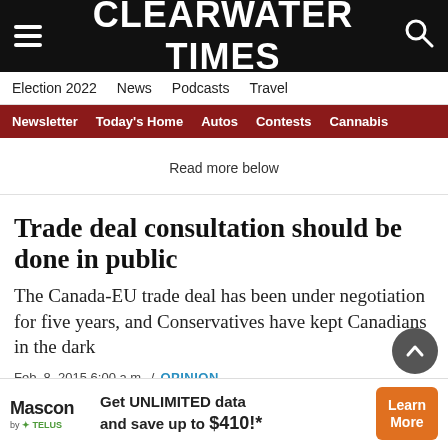CLEARWATER TIMES
Election 2022  News  Podcasts  Travel
Newsletter  Today's Home  Autos  Contests  Cannabis
Read more below
Trade deal consultation should be done in public
The Canada-EU trade deal has been under negotiation for five years, and Conservatives have kept Canadians in the dark
Feb. 8, 2015 6:00 a.m.  /  OPINION
[Figure (other): Advertisement banner: Mascon by TELUS - Get UNLIMITED data and save up to $410!* with Learn More button]